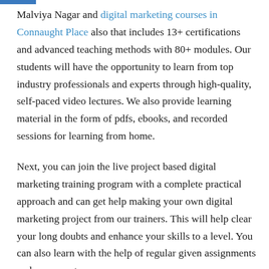Malviya Nagar and digital marketing courses in Connaught Place also that includes 13+ certifications and advanced teaching methods with 80+ modules. Our students will have the opportunity to learn from top industry professionals and experts through high-quality, self-paced video lectures. We also provide learning material in the form of pdfs, ebooks, and recorded sessions for learning from home.
Next, you can join the live project based digital marketing training program with a complete practical approach and can get help making your own digital marketing project from our trainers. This will help clear your long doubts and enhance your skills to a level. You can also learn with the help of regular given assignments and assesments.